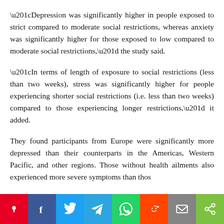“Depression was significantly higher in people exposed to strict compared to moderate social restrictions, whereas anxiety was significantly higher for those exposed to low compared to moderate social restrictions,” the study said.
“In terms of length of exposure to social restrictions (less than two weeks), stress was significantly higher for people experiencing shorter social restrictions (i.e. less than two weeks) compared to those experiencing longer restrictions,” it added.
They found participants from Europe were significantly more depressed than their counterparts in the Americas, Western Pacific, and other regions. Those without health ailments also experienced more severe symptoms than thos...